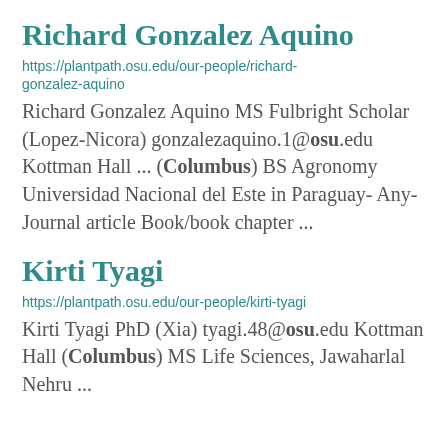Richard Gonzalez Aquino
https://plantpath.osu.edu/our-people/richard-gonzalez-aquino
Richard Gonzalez Aquino MS Fulbright Scholar (Lopez-Nicora) gonzalezaquino.1@osu.edu Kottman Hall ... (Columbus) BS Agronomy Universidad Nacional del Este in Paraguay- Any- Journal article Book/book chapter ...
Kirti Tyagi
https://plantpath.osu.edu/our-people/kirti-tyagi
Kirti Tyagi PhD (Xia) tyagi.48@osu.edu Kottman Hall (Columbus) MS Life Sciences, Jawaharlal Nehru ...